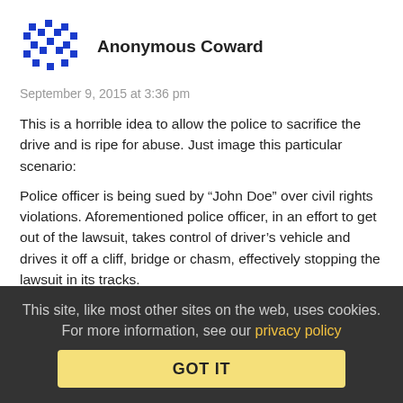[Figure (illustration): Blue pixel-art style avatar icon for Anonymous Coward user]
Anonymous Coward
September 9, 2015 at 3:36 pm
This is a horrible idea to allow the police to sacrifice the drive and is ripe for abuse. Just image this particular scenario:
Police officer is being sued by “John Doe” over civil rights violations. Aforementioned police officer, in an effort to get out of the lawsuit, takes control of driver’s vehicle and drives it off a cliff, bridge or chasm, effectively stopping the lawsuit in its tracks.
Last thing we need is a police officer having the ability to control our vehicle. It’s a system ripe for all kinds of abuses and trust me, the system being abused is exactly what will happen.
This site, like most other sites on the web, uses cookies. For more information, see our privacy policy GOT IT